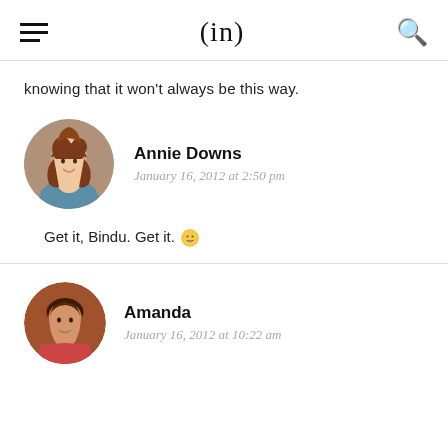(in)
knowing that it won't always be this way.
Annie Downs — January 16, 2012 at 2:50 pm
Get it, Bindu. Get it. 🙂
Amanda — January 16, 2012 at 10:22 am